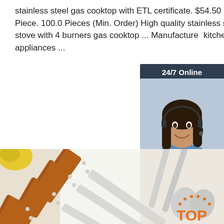stainless steel gas cooktop with ETL certificate. $54.50 - $99.00 Piece. 100.0 Pieces (Min. Order) High quality stainless steel gas stove with 4 burners gas cooktop ... Manufacturer kitchen appliances ...
[Figure (other): Orange 'Get Price' button]
[Figure (other): 24/7 Online chat widget with woman wearing headset, showing 'Click here for free chat!' and orange QUOTATION button]
[Figure (photo): Kitchen utensils with wooden handles and stainless steel blades/spoons arranged on a white surface, with orange/yellow items visible. TOP logo in bottom right.]